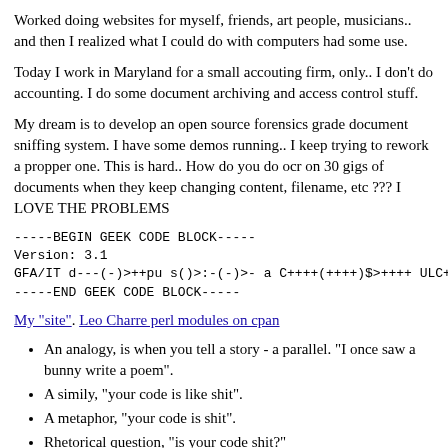Worked doing websites for myself, friends, art people, musicians.. and then I realized what I could do with computers had some use.
Today I work in Maryland for a small accouting firm, only.. I don't do accounting. I do some document archiving and access control stuff.
My dream is to develop an open source forensics grade document sniffing system. I have some demos running.. I keep trying to rework a propper one. This is hard.. How do you do ocr on 30 gigs of documents when they keep changing content, filename, etc ??? I LOVE THE PROBLEMS
-----BEGIN GEEK CODE BLOCK-----
Version: 3.1
GFA/IT d---(--)>++pu s()>:-(-)>- a C++++(++++)$>++++ ULC+-
-----END GEEK CODE BLOCK-----
My "site". Leo Charre perl modules on cpan
An analogy, is when you tell a story - a parallel. "I once saw a bunny write a poem".
A simily, "your code is like shit".
A metaphor, "your code is shit".
Rhetorical question, "is your code shit?"